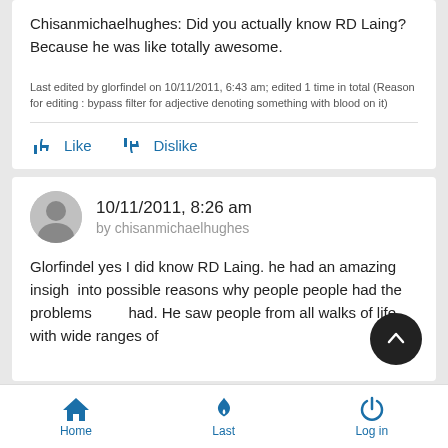Chisanmichaelhughes: Did you actually know RD Laing? Because he was like totally awesome.
Last edited by glorfindel on 10/11/2011, 6:43 am; edited 1 time in total (Reason for editing : bypass filter for adjective denoting something with blood on it)
Like   Dislike
10/11/2011, 8:26 am
by chisanmichaelhughes
Glorfindel yes I did know RD Laing. he had an amazing insight into possible reasons why people people had the problems they had. He saw people from all walks of life with wide ranges of
Home   Last   Log in